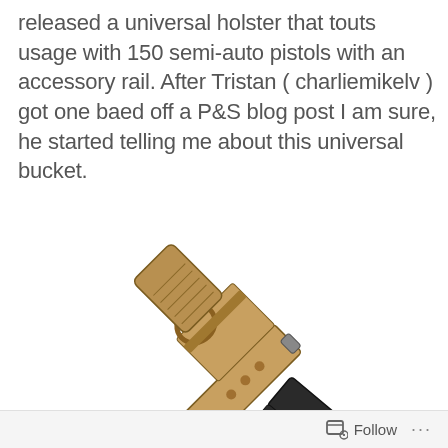released a universal holster that touts usage with 150 semi-auto pistols with an accessory rail. After Tristan ( charliemikelv ) got one baed off a P&S blog post I am sure, he started telling me about this universal bucket.
[Figure (photo): Two semi-automatic pistols overlapping: a gold/tan colored pistol (top left) and a black pistol with a tactical light/laser attachment on the rail (bottom right)]
Follow ...